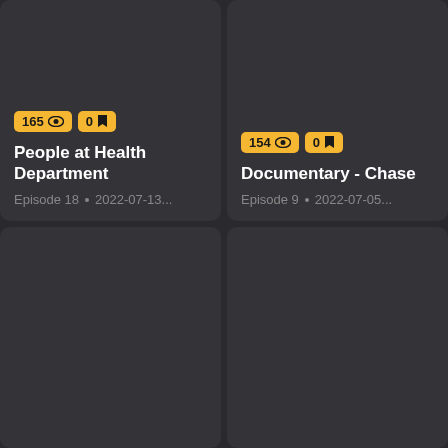[Figure (screenshot): Grid of 4 video/episode cards on dark background. Top-left card: 165 views badge, 0 bookmarks badge, title 'People at Health Department', Episode 18, 2022-07-13... Top-right card: 154 views badge, 0 bookmarks badge, title 'Documentary - Chase', Episode 9, 2022-07-05... Bottom-left and bottom-right cards show dark thumbnails with no visible text.]